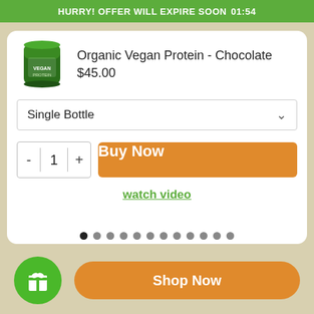HURRY! OFFER WILL EXPIRE SOON 01:54
[Figure (photo): Product image: green canister of Organic Vegan Protein - Chocolate]
Organic Vegan Protein - Chocolate
$45.00
Single Bottle
- 1 + Buy Now
watch video
Shop Now